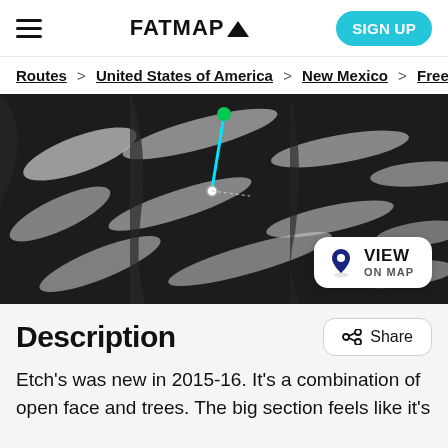FATMAP
Routes > United States of America > New Mexico > Free
[Figure (map): Aerial/satellite map view of a ski resort showing runs with snow and trees. A cyan route line is drawn from a green dot at the top to a marker lower on the slope. A 'VIEW ON MAP' button appears in the bottom-right corner.]
Description
Etch's was new in 2015-16. It's a combination of open face and trees. The big section feels like it's